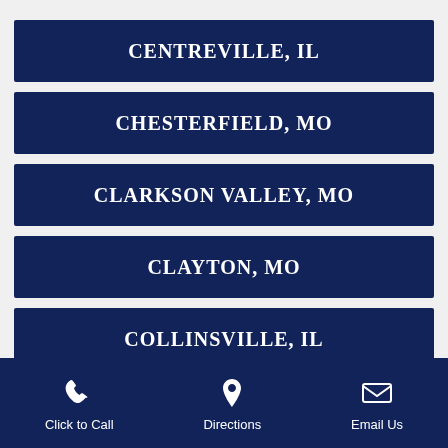CENTREVILLE, IL
CHESTERFIELD, MO
CLARKSON VALLEY, MO
CLAYTON, MO
COLLINSVILLE, IL
COLUMBIA, IL
Click to Call   Directions   Email Us